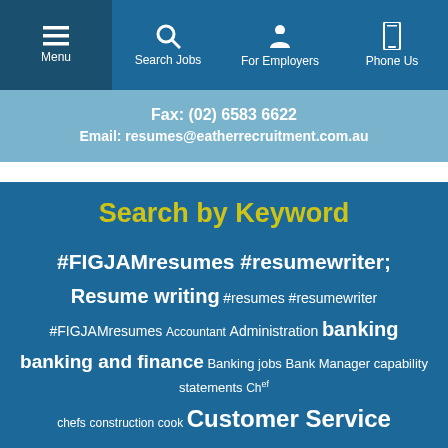Menu | Search Jobs | For Employers | Phone Us
Fax: (02) 6583 6622
Email: resumes@eatherrecruitment.com.au
Search by Keyword
#FIGJAMresumes #resumewriter; Resume writing #resumes #resumewriter #FIGJAMresumes Accountant Administration banking banking and finance Banking jobs Bank Manager capability statements Chef chefs construction cook Customer Service employment employment data General Labourer General Labourers help with resumes hospitality